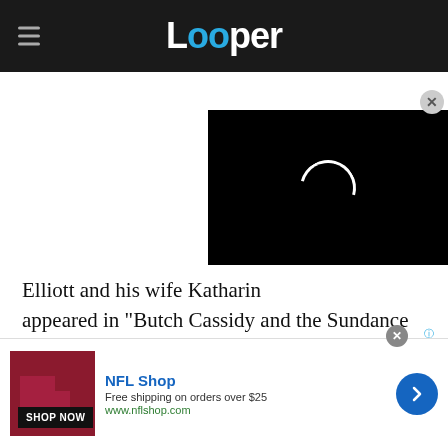Looper
[Figure (screenshot): Video player with black background and loading spinner, with a close (X) button]
Elliott and his wife Katharine appeared in "Butch Cassidy and the Sundance Kid," though they wouldn't meet until nearly a decade later when they were cast in the 1978 horror film "The Legacy." But as Elliott told Marc Maron on "WTF," he had been in love with Ross for years prior,
[Figure (screenshot): NFL Shop advertisement banner with red product image, NFL Shop name, 'Free shipping on orders over $25', 'www.nflshop.com', SHOP NOW button, and a blue forward arrow button]